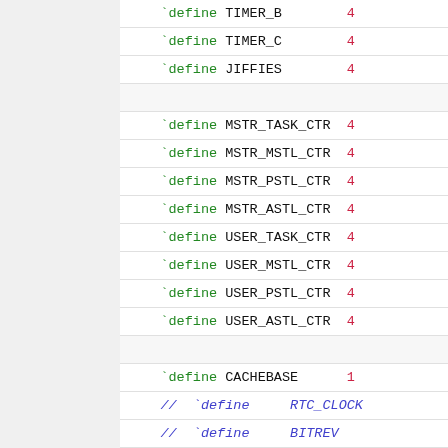[Figure (screenshot): Source code listing showing C preprocessor #define macros and commented-out defines for a hardware/embedded system. Lines include TIMER_B, TIMER_C, JIFFIES, MSTR_TASK_CTR, MSTR_MSTL_CTR, MSTR_PSTL_CTR, MSTR_ASTL_CTR, USER_TASK_CTR, USER_MSTL_CTR, USER_PSTL_CTR, USER_ASTL_CTR, CACHEBASE with value starting '1', and commented lines for RTC_CLOCK, BITREV, DBGCTRL with sub-comments 10 HALT, 9 HALT(B..., 8 STEP (, 7 INTERR...]